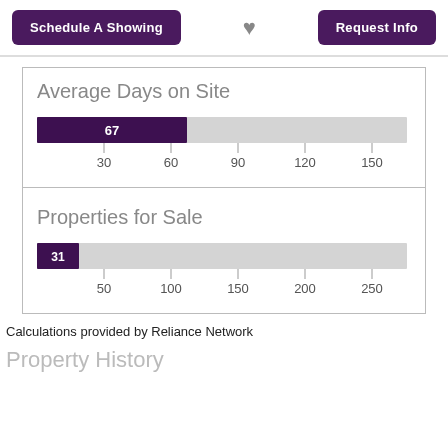Schedule A Showing | [heart icon] | Request Info
Average Days on Site
[Figure (bar-chart): Average Days on Site]
Properties for Sale
[Figure (bar-chart): Properties for Sale]
Calculations provided by Reliance Network
Property History